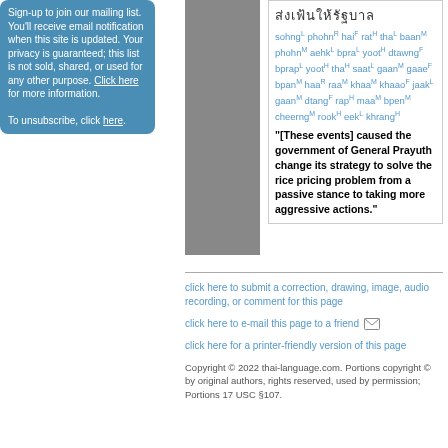Sign-up to join our mailing list. You'll receive email notification when this site is updated. Your privacy is guaranteed; this list is not sold, shared, or used for any other purpose. Click here for more information.

To unsubscribe, click here.
[Figure (other): Gray vertical bar]
Thai script text followed by romanized transliteration with tone markers: sohngL phohnR haiF ratH thaL baanM phohnM aehkL bpraL yootH dtawngF bprapL yootH thaH saatL gaanM gaaeF bpanM haaR raaM khaaM khaaoF jaakL gaanM dtangF rapH maaM bpenM cheerngM rookH eekL khrangH
"[These events] caused the government of General Prayuth change its strategy to solve the rice pricing problem from a passive stance to taking more aggressive actions."
click here to submit a correction, drawing, image, audio recording, or comment for this page
click here to e-mail this page to a friend
click here for a printer-friendly version of this page
Copyright © 2022 thai-language.com. Portions copyright © by original authors, rights reserved, used by permission; Portions 17 USC §107.